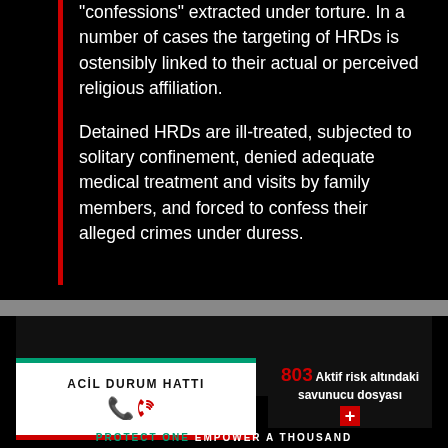"confessions" extracted under torture. In a number of cases the targeting of HRDs is ostensibly linked to their actual or perceived religious affiliation.
Detained HRDs are ill-treated, subjected to solitary confinement, denied adequate medical treatment and visits by family members, and forced to confess their alleged crimes under duress.
[Figure (photo): Dark image area, likely a photograph related to human rights defenders]
ACİL DURUM HATTI (Emergency line with phone icon)
803 Aktif risk altındaki savunucu dosyası
PROTECT ONE EMPOWER A THOUSAND